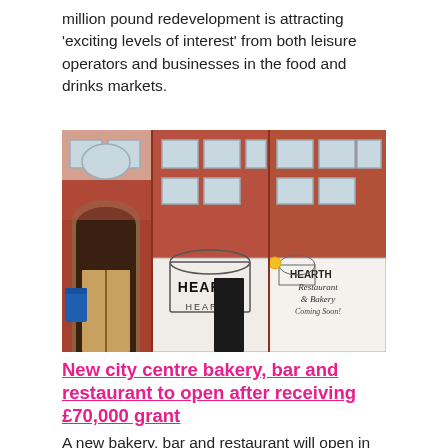million pound redevelopment is attracting 'exciting levels of interest' from both leisure operators and businesses in the food and drinks markets.
[Figure (photo): Exterior of a red-brick building in Hull's Old Town showing the Hearth restaurant and bakery shopfront with signage, an arched passageway on the left, windows on upper floors, and a blue recycling bin.]
New city centre bakery, bar and restaurant to open after receiving £70,000 grant
A new bakery, bar and restaurant will open in Hull's Old Town thanks to a £73,356 Levelling-Up Fund grant. The council has today published a decision record that confirms the grant to Hearth Family Ltd, who will open the unit at 10.5 King St, in